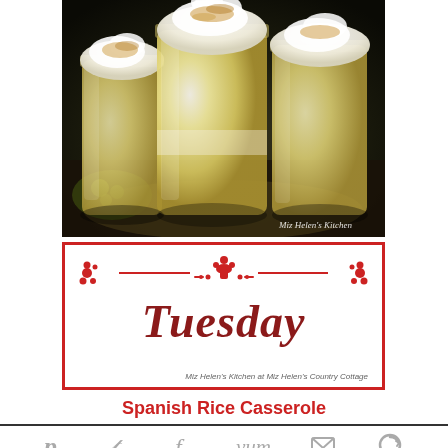[Figure (photo): Photo of mason jars filled with layered banana cream pudding topped with whipped cream and toasted coconut, with watermark 'Miz Helen's Kitchen']
[Figure (illustration): Tuesday banner with red border, red ornamental divider, and italic text 'Tuesday' in dark red, with credit 'Miz Helen's Kitchen at Miz Helen's Country Cottage']
Spanish Rice Casserole
[Figure (infographic): Social sharing bar with Pinterest (count: 7), Twitter, Facebook, Yummly, email, and other social share icons]